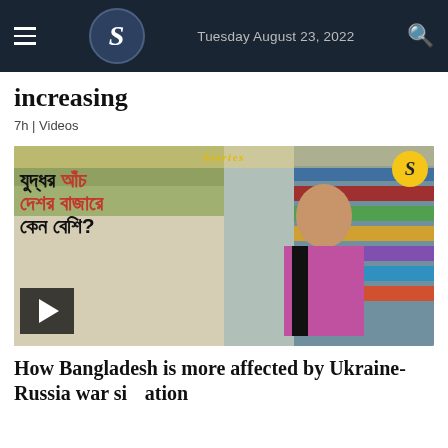S | Tuesday August 23, 2022
increasing
7h | Videos
[Figure (photo): Video thumbnail showing a woman presenter in front of Bengali text overlay reading about war market prices, with a play button in the lower left corner. 'Stories' label and S logo circle in yellow appear at top.]
How Bangladesh is more affected by Ukraine-Russia war situation